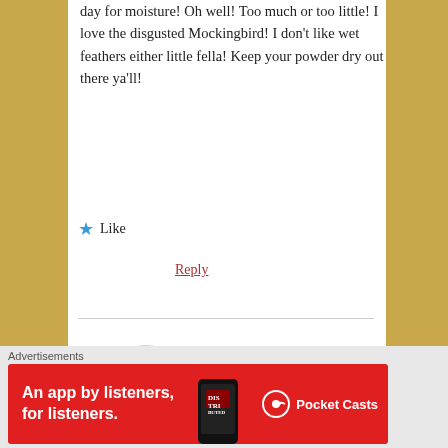day for moisture! Oh well! Too much or too little! I love the disgusted Mockingbird! I don't like wet feathers either little fella! Keep your powder dry out there ya'll!
★ Like
Reply
[Figure (photo): Circular avatar photo of a rooster on green grass]
thewickedchicken
May 20, 2015 at 6:44 am
I'd gladly send you some of our showers if I could Dave! Maybe they will get there soon!
Advertisements
[Figure (infographic): Red advertisement banner: An app by listeners, for listeners. Pocket Casts — shows a phone with app icon]